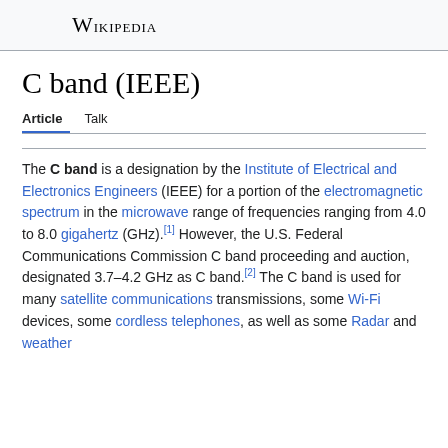Wikipedia
C band (IEEE)
Article  Talk
The C band is a designation by the Institute of Electrical and Electronics Engineers (IEEE) for a portion of the electromagnetic spectrum in the microwave range of frequencies ranging from 4.0 to 8.0 gigahertz (GHz).[1] However, the U.S. Federal Communications Commission C band proceeding and auction, designated 3.7–4.2 GHz as C band.[2] The C band is used for many satellite communications transmissions, some Wi-Fi devices, some cordless telephones, as well as some Radar and weather